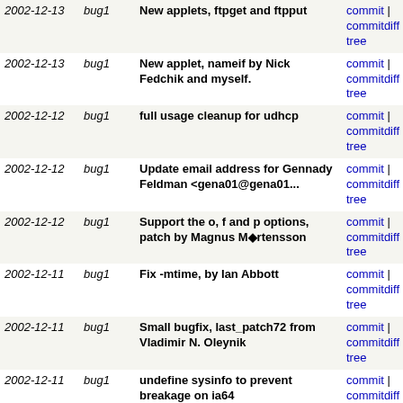| date | branch | message | links |
| --- | --- | --- | --- |
| 2002-12-13 | bug1 | New applets, ftpget and ftpput | commit | commitdiff | tree |
| 2002-12-13 | bug1 | New applet, nameif by Nick Fedchik and myself. | commit | commitdiff | tree |
| 2002-12-12 | bug1 | full usage cleanup for udhcp | commit | commitdiff | tree |
| 2002-12-12 | bug1 | Update email address for Gennady Feldman <gena01@gena01... | commit | commitdiff | tree |
| 2002-12-12 | bug1 | Support the o, f and p options, patch by Magnus M◆rtensson | commit | commitdiff | tree |
| 2002-12-11 | bug1 | Fix -mtime, by Ian Abbott | commit | commitdiff | tree |
| 2002-12-11 | bug1 | Small bugfix, last_patch72 from Vladimir N. Oleynik | commit | commitdiff | tree |
| 2002-12-11 | bug1 | undefine sysinfo to prevent breakage on ia64 | commit | commitdiff | tree |
| 2002-12-11 | bug1 | Use libbb/get_line_from_file instead of getline | commit | commitdiff | tree |
| 2002-12-10 | bug1 | Sync debian files with debian package version 0.60... | commit | commitdiff | tree |
| 2002-12-10 | bug1 | Fix undefined behaviour and save some bytes as suggested... | commit | commitdiff | tree |
| 2002-12-10 | bug1 | include busybox after libc includes | commit | commitdiff | tree |
| 2002-12-10 | bug1 | rpm applet by Laurence Anderson | commit | commitdiff | tree |
next